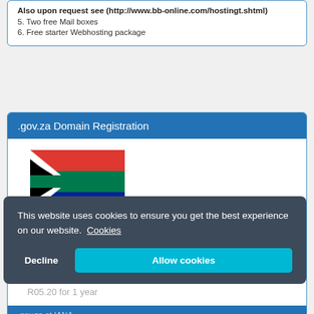Also upon request see (http://www.bb-online.com/hostingt.shtml)
5. Two free Mail boxes
6. Free starter Webhosting package
.gov.za Domain Registration
[Figure (illustration): South African national flag - horizontal bands of green, white, black, yellow, red, and blue with a green horizontal chevron]
R05.20 for 1 year
.gov.za at IANA
IANA the Internet Assigned Numbers Authority (IANA)
This website uses cookies to ensure you get the best experience on our website. Cookies
Decline
Allow cookies